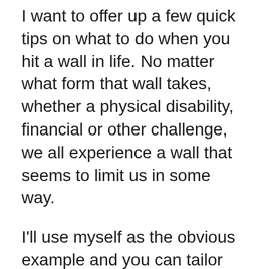I want to offer up a few quick tips on what to do when you hit a wall in life.  No matter what form that wall takes, whether a physical disability, financial or other challenge, we all experience a wall that seems to limit us in some way.
I'll use myself as the obvious example and you can tailor these tips to your own personal set of circumstances.  If you feel you need help, you can always reach out to me for some personalized life coaching.
The first hard lesson I had to learn is to simply accept reality.  This does not mean that we accept the stereotypical limitations that some